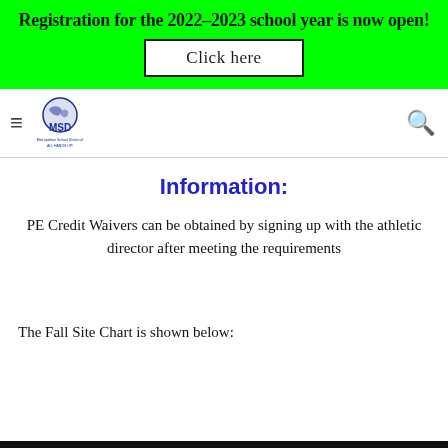Registration for the 2022-2023 school year is now open!
Click here
[Figure (logo): MSD school district logo with globe graphic and text 'MSD ALL HANDS UP!']
Information:
PE Credit Waivers can be obtained by signing up with the athletic director after meeting the requirements
The Fall Site Chart is shown below: